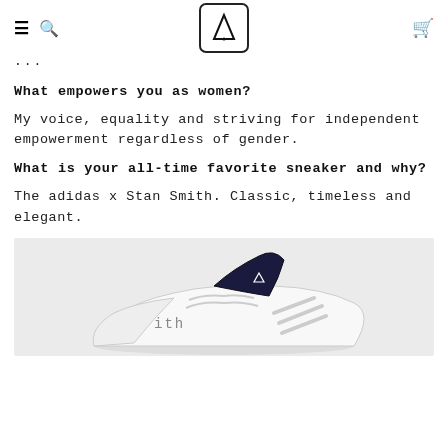≡ 🔍 [logo] 🛍
...
What empowers you as women?
My voice, equality and striving for independent empowerment regardless of gender.
What is your all-time favorite sneaker and why?
The adidas x Stan Smith. Classic, timeless and elegant.
[Figure (photo): Close-up photo of an adidas x Stan Smith sneaker, showing the toe and side profile with dark navy/black tongue and white leather, partial 'ith' text visible on side, on light grey background.]